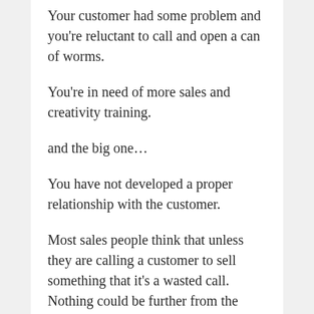Your customer had some problem and you're reluctant to call and open a can of worms.
You're in need of more sales and creativity training.
and the big one…
You have not developed a proper relationship with the customer.
Most sales people think that unless they are calling a customer to sell something that it's a wasted call. Nothing could be further from the truth.